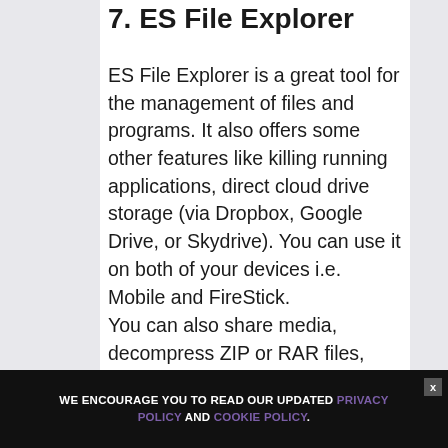7. ES File Explorer
ES File Explorer is a great tool for the management of files and programs. It also offers some other features like killing running applications, direct cloud drive storage (via Dropbox, Google Drive, or Skydrive). You can use it on both of your devices i.e. Mobile and FireStick.
You can also share media, decompress ZIP or RAR files, access different types of
WE ENCOURAGE YOU TO READ OUR UPDATED PRIVACY POLICY AND COOKIE POLICY.